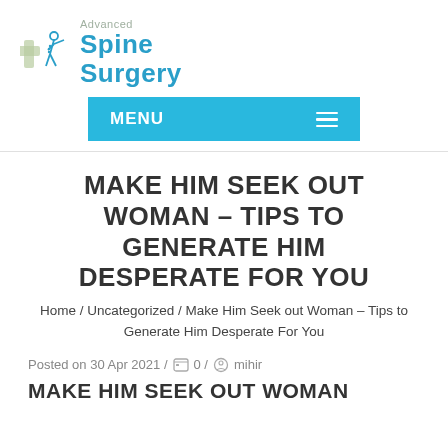[Figure (logo): Advanced Spine Surgery logo with stylized human figure and cross, teal text]
MENU
MAKE HIM SEEK OUT WOMAN – TIPS TO GENERATE HIM DESPERATE FOR YOU
Home / Uncategorized / Make Him Seek out Woman – Tips to Generate Him Desperate For You
Posted on 30 Apr 2021 / 0 / mihir
MAKE HIM SEEK OUT WOMAN